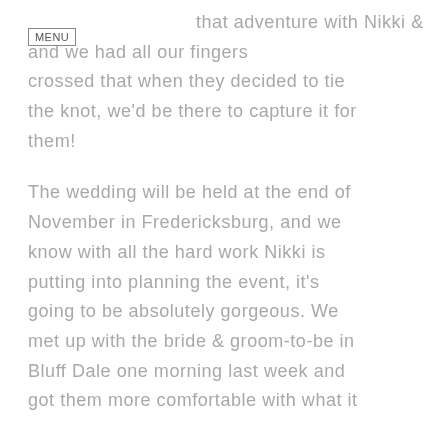that adventure with Nikki & and we had all our fingers crossed that when they decided to tie the knot, we'd be there to capture it for them! The wedding will be held at the end of November in Fredericksburg, and we know with all the hard work Nikki is putting into planning the event, it's going to be absolutely gorgeous. We met up with the bride & groom-to-be in Bluff Dale one morning last week and got them more comfortable with what it